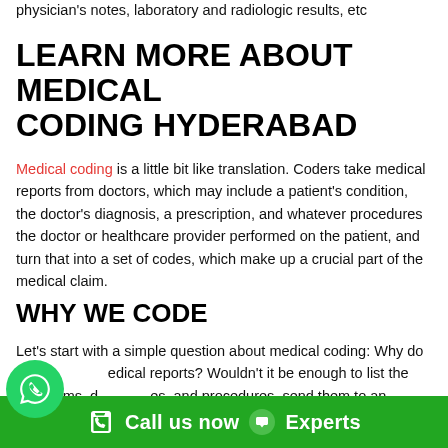physician's notes, laboratory and radiologic results, etc
LEARN MORE ABOUT MEDICAL CODING HYDERABAD
Medical coding is a little bit like translation. Coders take medical reports from doctors, which may include a patient's condition, the doctor's diagnosis, a prescription, and whatever procedures the doctor or healthcare provider performed on the patient, and turn that into a set of codes, which make up a crucial part of the medical claim.
WHY WE CODE
Let's start with a simple question about medical coding: Why do we code medical reports? Wouldn't it be enough to list the symptoms, diagnoses, and procedures, send them to an insurance company, and wait to hear which services will be reimbursed? Medical Coding Training in Hyderabad
Call us now  Experts